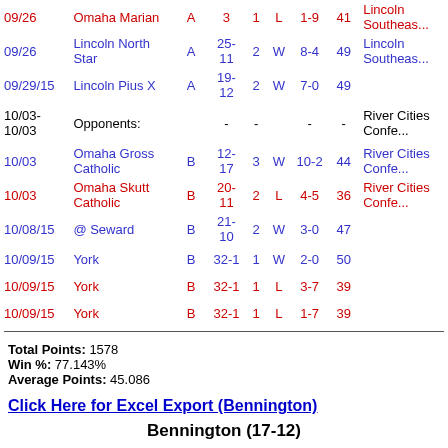| Date | Opponent | Class | W-L | Div | W/L | Score | Points | Tournament |
| --- | --- | --- | --- | --- | --- | --- | --- | --- |
| 09/26 | Omaha Marian | A | 25-3 | 1 | L | 1-9 | 41 | Lincoln Southeast |
| 09/26 | Lincoln North Star | A | 25-11 | 2 | W | 8-4 | 49 | Lincoln Southeast |
| 09/29/15 | Lincoln Pius X | A | 19-12 | 2 | W | 7-0 | 49 |  |
| 10/03-10/03 | Opponents: |  | - | - |  | - | - | River Cities Confe... |
| 10/03 | Omaha Gross Catholic | B | 12-17 | 3 | W | 10-2 | 44 | River Cities Confe... |
| 10/03 | Omaha Skutt Catholic | B | 20-11 | 2 | L | 4-5 | 36 | River Cities Confe... |
| 10/08/15 | @ Seward | B | 21-10 | 2 | W | 3-0 | 47 |  |
| 10/09/15 | York | B | 32-1 | 1 | W | 2-0 | 50 |  |
| 10/09/15 | York | B | 32-1 | 1 | L | 3-7 | 39 |  |
| 10/09/15 | York | B | 32-1 | 1 | L | 1-7 | 39 |  |
Total Points: 1578
Win %: 77.143%
Average Points: 45.086
Click Here for Excel Export (Bennington)
Bennington (17-12)
| Date | Opponent | Class | W-L | Div | W/L | Score | Points | Tournament |
| --- | --- | --- | --- | --- | --- | --- | --- | --- |